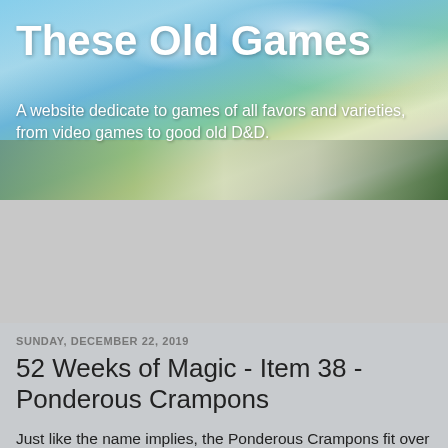These Old Games
A website dedicate to games of all favors and varieties, from video games to good old D&D.
Home
Home
SUNDAY, DECEMBER 22, 2019
52 Weeks of Magic - Item 38 - Ponderous Crampons
Just like the name implies, the Ponderous Crampons fit over boots and secure a climber to a surface. The Ponderous Crampons allow someone to walk on not only ice, but also on walls and ceilings. Movement is limited to a prosperous walk. This device causes each footstep to resound like a